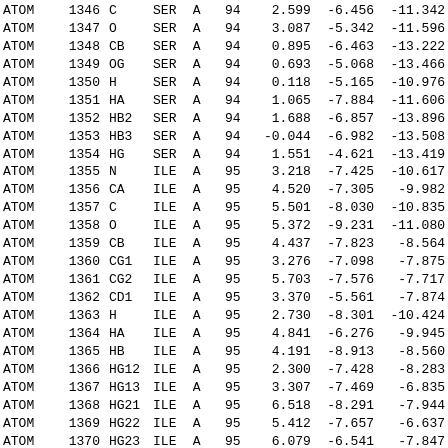| type | serial | name | res | chain | seq | x | y | z |
| --- | --- | --- | --- | --- | --- | --- | --- | --- |
| ATOM | 1346 | C | SER | A | 94 | 2.599 | -6.456 | -11.342 |
| ATOM | 1347 | O | SER | A | 94 | 3.087 | -5.342 | -11.596 |
| ATOM | 1348 | CB | SER | A | 94 | 0.895 | -6.463 | -13.222 |
| ATOM | 1349 | OG | SER | A | 94 | 0.693 | -5.068 | -13.466 |
| ATOM | 1350 | H | SER | A | 94 | 0.118 | -5.165 | -10.976 |
| ATOM | 1351 | HA | SER | A | 94 | 1.065 | -7.884 | -11.606 |
| ATOM | 1352 | HB2 | SER | A | 94 | 1.688 | -6.857 | -13.896 |
| ATOM | 1353 | HB3 | SER | A | 94 | -0.044 | -6.982 | -13.508 |
| ATOM | 1354 | HG | SER | A | 94 | 1.551 | -4.621 | -13.419 |
| ATOM | 1355 | N | ILE | A | 95 | 3.218 | -7.425 | -10.617 |
| ATOM | 1356 | CA | ILE | A | 95 | 4.520 | -7.305 | -9.982 |
| ATOM | 1357 | C | ILE | A | 95 | 5.501 | -8.030 | -10.835 |
| ATOM | 1358 | O | ILE | A | 95 | 5.372 | -9.231 | -11.080 |
| ATOM | 1359 | CB | ILE | A | 95 | 4.437 | -7.823 | -8.564 |
| ATOM | 1360 | CG1 | ILE | A | 95 | 3.276 | -7.098 | -7.875 |
| ATOM | 1361 | CG2 | ILE | A | 95 | 5.703 | -7.576 | -7.717 |
| ATOM | 1362 | CD1 | ILE | A | 95 | 3.370 | -5.561 | -7.874 |
| ATOM | 1363 | H | ILE | A | 95 | 2.730 | -8.301 | -10.424 |
| ATOM | 1364 | HA | ILE | A | 95 | 4.841 | -6.276 | -9.945 |
| ATOM | 1365 | HB | ILE | A | 95 | 4.191 | -8.913 | -8.560 |
| ATOM | 1366 | HG12 | ILE | A | 95 | 2.300 | -7.428 | -8.283 |
| ATOM | 1367 | HG13 | ILE | A | 95 | 3.307 | -7.469 | -6.835 |
| ATOM | 1368 | HG21 | ILE | A | 95 | 6.518 | -8.291 | -7.944 |
| ATOM | 1369 | HG22 | ILE | A | 95 | 5.412 | -7.657 | -6.637 |
| ATOM | 1370 | HG23 | ILE | A | 95 | 6.079 | -6.541 | -7.847 |
| ATOM | 1371 | HD11 | ILE | A | 95 | 4.389 | -5.226 | -7.592 |
| ATOM | 1372 | HD12 | ILE | A | 95 | 2.675 | -5.137 | -7.121 |
| ATOM | 1373 | HD13 | ILE | A | 95 | 3.122 | -5.129 | -8.864 |
| ATOM | 1374 | N | GLU | A | 96 | 6.510 | -7.291 | -11.363 |
| ATOM | 1375 | CA | GLU | A | 96 | 7.462 | -7.849 | -12.333 |